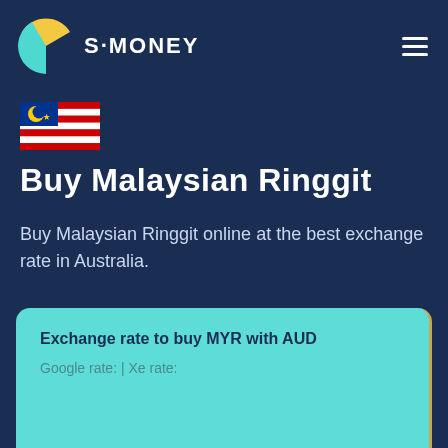S·MONEY
[Figure (illustration): Malaysian flag icon]
Buy Malaysian Ringgit
Buy Malaysian Ringgit online at the best exchange rate in Australia.
Exchange rate to buy MYR with AUD
Google rate: | Xe rate: